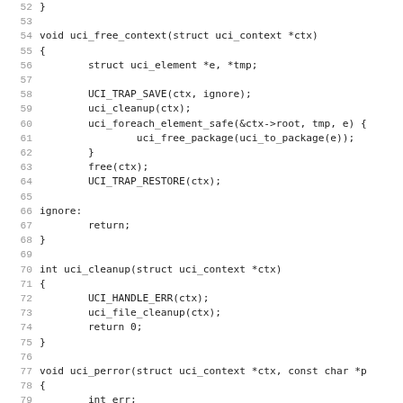[Figure (other): Source code listing in C showing functions uci_free_context, uci_cleanup, and uci_perror with line numbers 52-83]